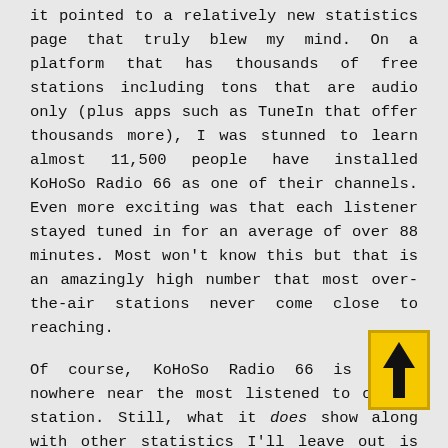it pointed to a relatively new statistics page that truly blew my mind. On a platform that has thousands of free stations including tons that are audio only (plus apps such as TuneIn that offer thousands more), I was stunned to learn almost 11,500 people have installed KoHoSo Radio 66 as one of their channels. Even more exciting was that each listener stayed tuned in for an average of over 88 minutes. Most won't know this but that is an amazingly high number that most over-the-air stations never come close to reaching.
Of course, KoHoSo Radio 66 is still nowhere near the most listened to oldies station. Still, what it does show along with other statistics I'll leave out is that, when people find the station, about two-thirds of them come back at least occasionally and a notable number become regular listeners.